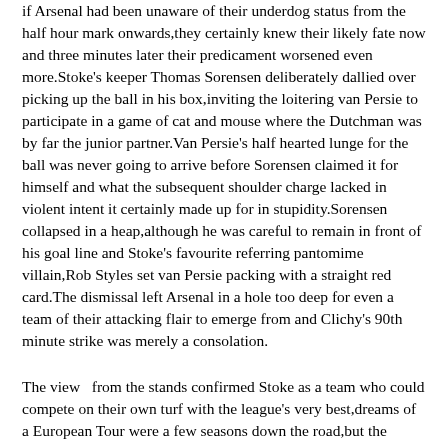if Arsenal had been unaware of their underdog status from the half hour mark onwards,they certainly knew their likely fate now and three minutes later their predicament worsened even more.Stoke's keeper Thomas Sorensen deliberately dallied over picking up the ball in his box,inviting the loitering van Persie to participate in a game of cat and mouse where the Dutchman was by far the junior partner.Van Persie's half hearted lunge for the ball was never going to arrive before Sorensen claimed it for himself and what the subsequent shoulder charge lacked in violent intent it certainly made up for in stupidity.Sorensen collapsed in a heap,although he was careful to remain in front of his goal line and Stoke's favourite referring pantomime villain,Rob Styles set van Persie packing with a straight red card.The dismissal left Arsenal in a hole too deep for even a team of their attacking flair to emerge from and Clichy's 90th minute strike was merely a consolation.
The view  from the stands confirmed Stoke as a team who could compete on their own turf with the league's very best,dreams of a European Tour were a few seasons down the road,but the Potters were no longer considered to be a